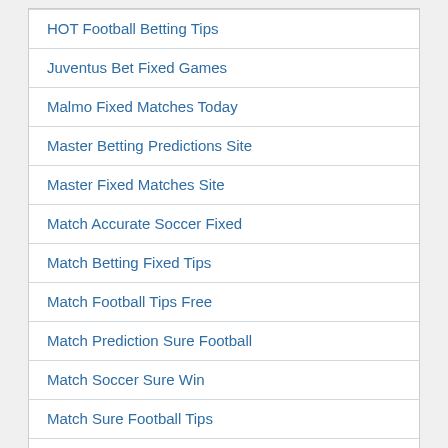HOT Football Betting Tips
Juventus Bet Fixed Games
Malmo Fixed Matches Today
Master Betting Predictions Site
Master Fixed Matches Site
Match Accurate Soccer Fixed
Match Betting Fixed Tips
Match Football Tips Free
Match Prediction Sure Football
Match Soccer Sure Win
Match Sure Football Tips
Matches Fixed Football
Matches Today Fixed Tips
Max Bet Accurate Matches
Max Bet Fixed Match